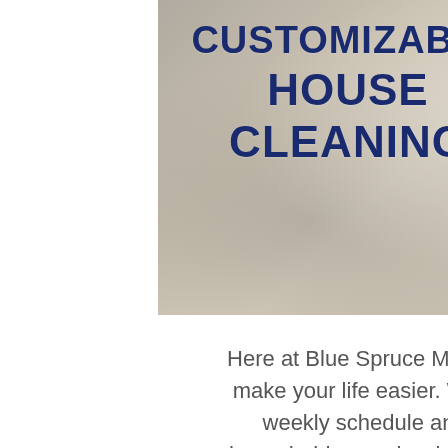[Figure (photo): Hero image with stone/cleaning background texture and a spoon, overlaid with bold dark blue text reading CUSTOMIZABLE HOUSE CLEANING]
CUSTOMIZABLE HOUSE CLEANING
Here at Blue Spruce Maids, we wish to make your life easier. We can make a weekly schedule and keep your household squeaky clean every day of the week.
If some parts of your home in Superior need special